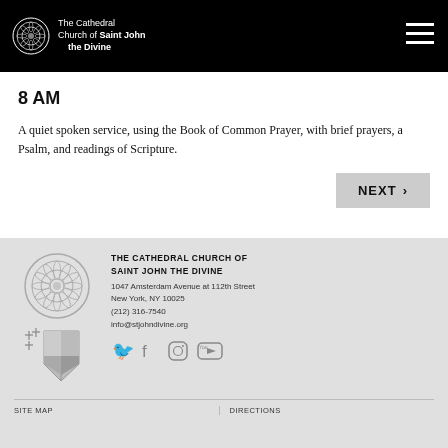The Cathedral Church of Saint John the Divine
8 AM
A quiet spoken service, using the Book of Common Prayer, with brief prayers, a Psalm, and readings of Scripture.
NEXT >
THE CATHEDRAL CHURCH OF SAINT JOHN THE DIVINE
1047 Amsterdam Avenue at 112th Street
New York, NY 10025
(212) 316-7540
info@stjohndivine.org
SITE MAP   DIRECTIONS